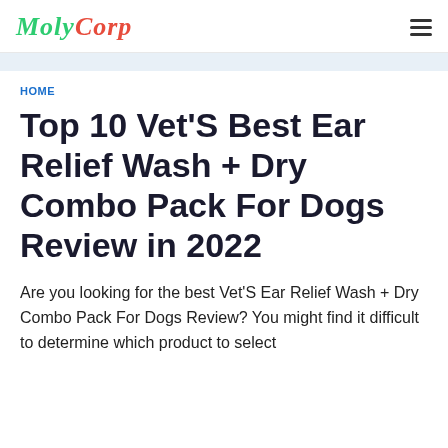MOLYCORP
HOME
Top 10 Vet'S Best Ear Relief Wash + Dry Combo Pack For Dogs Review in 2022
Are you looking for the best Vet'S Ear Relief Wash + Dry Combo Pack For Dogs Review? You might find it difficult to determine which product to select...